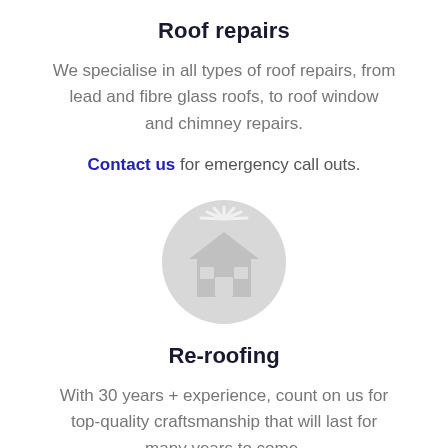Roof repairs
We specialise in all types of roof repairs, from lead and fibre glass roofs, to roof window and chimney repairs.
Contact us for emergency call outs.
[Figure (illustration): A circular grey icon showing a house with a roof and windows, with sunburst lines above the roofline, styled as a light grey placeholder/logo icon.]
Re-roofing
With 30 years + experience, count on us for top-quality craftsmanship that will last for many years to come.